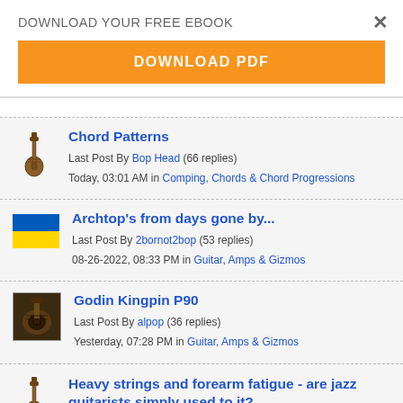DOWNLOAD YOUR FREE EBOOK
DOWNLOAD PDF
Chord Patterns
Last Post By Bop Head (66 replies)
Today, 03:01 AM in Comping, Chords & Chord Progressions
Archtop's from days gone by...
Last Post By 2bornot2bop (53 replies)
08-26-2022, 08:33 PM in Guitar, Amps & Gizmos
Godin Kingpin P90
Last Post By alpop (36 replies)
Yesterday, 07:28 PM in Guitar, Amps & Gizmos
Heavy strings and forearm fatigue - are jazz guitarists simply used to it?